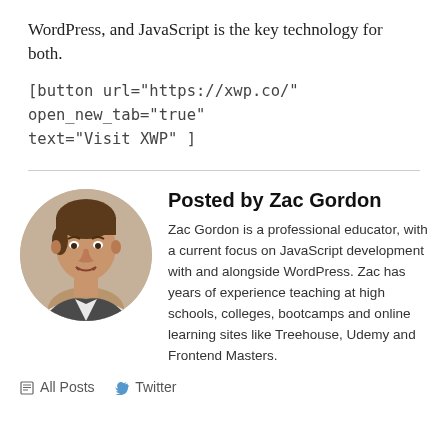WordPress, and JavaScript is the key technology for both.
[button url="https://xwp.co/" open_new_tab="true" text="Visit XWP" ]
[Figure (photo): Circular headshot photo of Zac Gordon, a man with short hair wearing a white shirt, photographed against a light background.]
Posted by Zac Gordon
Zac Gordon is a professional educator, with a current focus on JavaScript development with and alongside WordPress. Zac has years of experience teaching at high schools, colleges, bootcamps and online learning sites like Treehouse, Udemy and Frontend Masters.
All Posts   Twitter